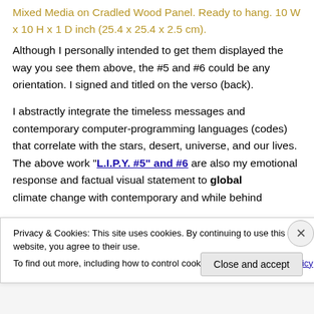Mixed Media on Cradled Wood Panel. Ready to hang. 10 W x 10 H x 1 D inch (25.4 x 25.4 x 2.5 cm).
Although I personally intended to get them displayed the way you see them above, the #5 and #6 could be any orientation. I signed and titled on the verso (back).
I abstractly integrate the timeless messages and contemporary computer-programming languages (codes) that correlate with the stars, desert, universe, and our lives. The above work “L.I.P.Y. #5” and #6 are also my emotional response and factual visual statement to global climate change with...
Privacy & Cookies: This site uses cookies. By continuing to use this website, you agree to their use.
To find out more, including how to control cookies, see here: Cookie Policy
Close and accept